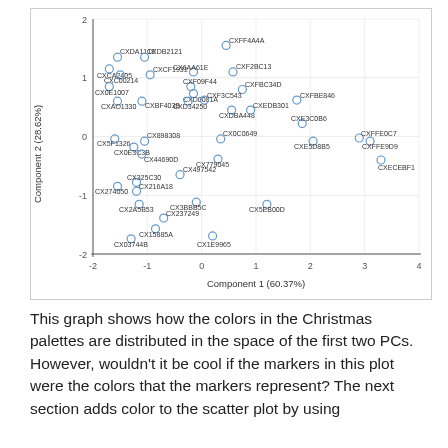[Figure (continuous-plot): Scatter plot of Christmas palette colors in PCA space. X-axis: Component 1 (60.37%), range -2 to 4. Y-axis: Component 2 (28.62%), range -2 to 2. Points are labeled with hex color codes (e.g. CXDA111E, CXCA2405, CXDB2121, CXFF4A4A, etc.). Markers are open circles.]
This graph shows how the colors in the Christmas palettes are distributed in the space of the first two PCs. However, wouldn't it be cool if the markers in this plot were the colors that the markers represent? The next section adds color to the scatter plot by using